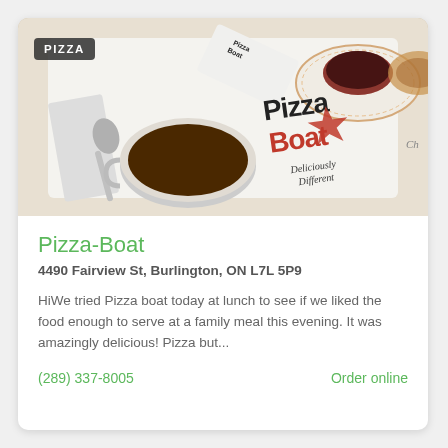[Figure (photo): Restaurant photo showing a table with 'Pizza Boat' branding — a coffee cup, spoon, tea cup and saucer, and a placemat with the Pizza Boat logo and tagline 'Deliciously Different'. A small bag with the Pizza Boat logo is also visible. A 'PIZZA' label badge is overlaid in the top-left corner.]
Pizza-Boat
4490 Fairview St, Burlington, ON L7L 5P9
HiWe tried Pizza boat today at lunch to see if we liked the food enough to serve at a family meal this evening. It was amazingly delicious! Pizza but...
(289) 337-8005
Order online